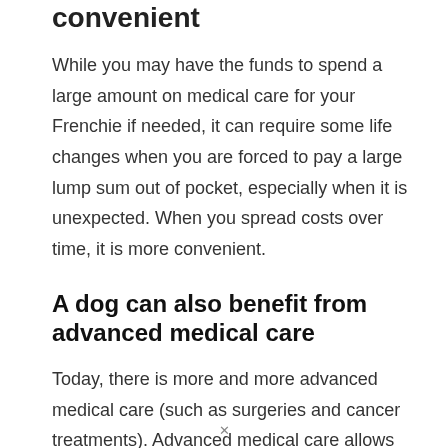convenient
While you may have the funds to spend a large amount on medical care for your Frenchie if needed, it can require some life changes when you are forced to pay a large lump sum out of pocket, especially when it is unexpected. When you spread costs over time, it is more convenient.
A dog can also benefit from advanced medical care
Today, there is more and more advanced medical care (such as surgeries and cancer treatments). Advanced medical care allows for a